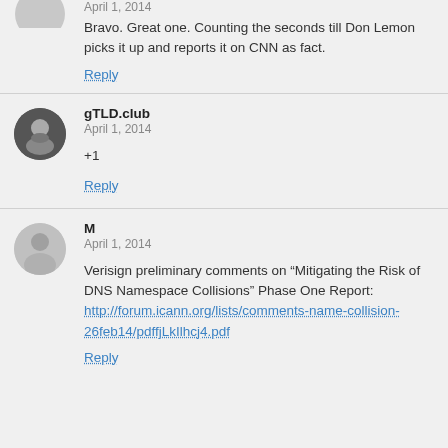April 1, 2014
Bravo. Great one. Counting the seconds till Don Lemon picks it up and reports it on CNN as fact.
Reply
gTLD.club
April 1, 2014
+1
Reply
M
April 1, 2014
Verisign preliminary comments on “Mitigating the Risk of DNS Namespace Collisions” Phase One Report: http://forum.icann.org/lists/comments-name-collision-26feb14/pdffjLkIlhcj4.pdf
Reply